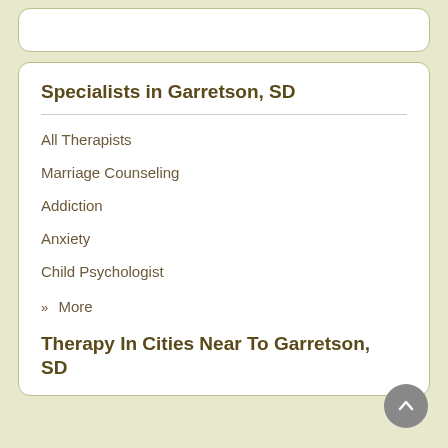Specialists in Garretson, SD
All Therapists
Marriage Counseling
Addiction
Anxiety
Child Psychologist
» More
Therapy In Cities Near To Garretson, SD